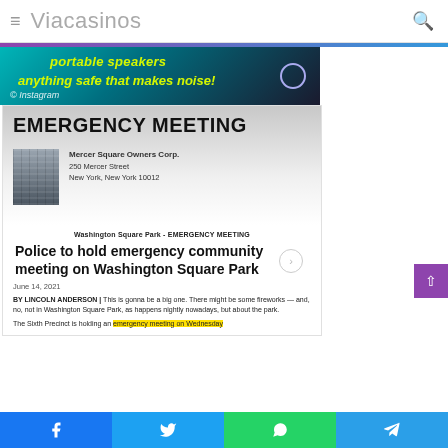≡ Viacasinos 🔍
[Figure (photo): Advertisement banner with teal/dark background showing text 'portable speakers' and 'anything safe that makes noise!' in yellow italic text, with Instagram copyright notice]
EMERGENCY MEETING
[Figure (photo): Building photo - Mercer Square Owners Corp., 250 Mercer Street, New York, New York 10012]
Washington Square Park - EMERGENCY MEETING
Police to hold emergency community meeting on Washington Square Park
June 14, 2021
BY LINCOLN ANDERSON | This is gonna be a big one. There might be some fireworks — and, no, not in Washington Square Park, as happens nightly nowadays, but about the park.
The Sixth Precinct is holding an emergency meeting on Wednesday